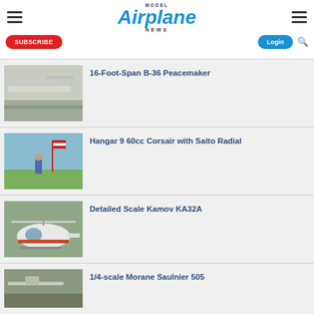Model Airplane News
16-Foot-Span B-36 Peacemaker
Hangar 9 60cc Corsair with Saito Radial
Detailed Scale Kamov KA32A
1/4-scale Morane Saulnier 505